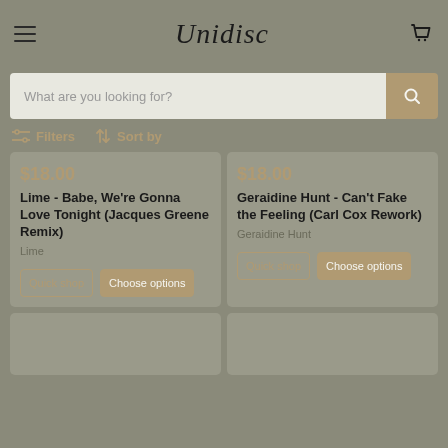Unidisc
What are you looking for?
Filters   Sort by
$18.00
Lime - Babe, We're Gonna Love Tonight (Jacques Greene Remix)
Lime
$18.00
Geraldine Hunt - Can't Fake the Feeling (Carl Cox Rework)
Geraldine Hunt